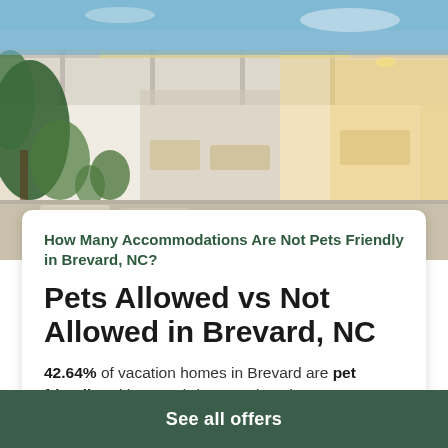[Figure (photo): Exterior photo of a modern white vacation home with open glass doors, warm interior lighting, outdoor patio area with loungers and tropical plants, daytime photo.]
How Many Accommodations Are Not Pets Friendly in Brevard, NC?
Pets Allowed vs Not Allowed in Brevard, NC
42.64% of vacation homes in Brevard are pet friendly. Either you bring your loved pets on vacation or you have pet allergies, make sure to select the homes by applying the right filters.
See all offers